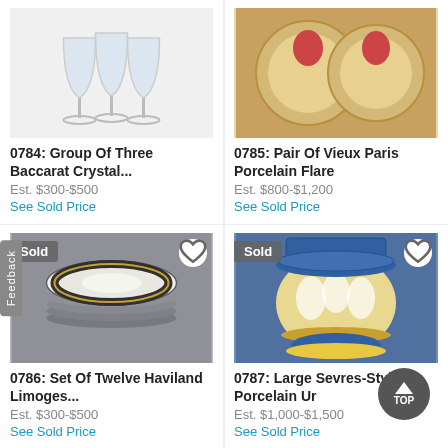[Figure (photo): Group of three Baccarat crystal wine glasses, clear glass, top portion of image]
0784: Group Of Three Baccarat Crystal...
Est. $300-$500
See Sold Price
[Figure (photo): Pair of Vieux Paris porcelain flare items with gold and floral decoration, top portion]
0785: Pair Of Vieux Paris Porcelain Flare
Est. $800-$1,200
See Sold Price
[Figure (photo): Set of twelve Haviland Limoges plates stacked, dark decorative border with gold, Sold badge]
0786: Set Of Twelve Haviland Limoges...
Est. $300-$500
See Sold Price
[Figure (photo): Large Sevres-style porcelain urn, blue and yellow with white relief figures, Sold badge]
0787: Large Sevres-Style Porcelain Ur
Est. $1,000-$1,500
See Sold Price